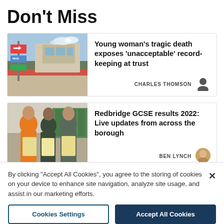Don't Miss
[Figure (photo): Photo of a hospital exterior with directional signage and red brick building under a partly cloudy sky.]
Young woman's tragic death exposes 'unacceptable' record-keeping at trust
CHARLES THOMSON
[Figure (photo): Photo of three young women smiling and holding envelopes, likely GCSE results day.]
Redbridge GCSE results 2022: Live updates from across the borough
BEN LYNCH
By clicking "Accept All Cookies", you agree to the storing of cookies on your device to enhance site navigation, analyze site usage, and assist in our marketing efforts.
Cookies Settings
Accept All Cookies